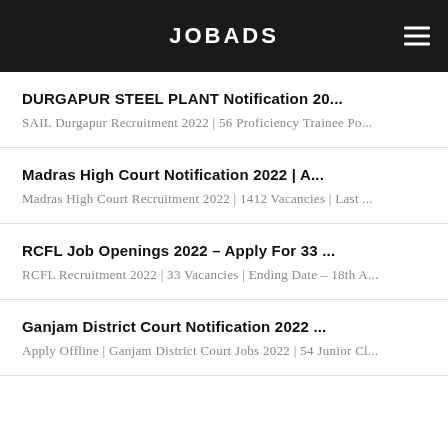JOBADS
DURGAPUR STEEL PLANT Notification 20...
SAIL Durgapur Recruitment 2022 | 56 Proficiency Trainee Po...
Madras High Court Notification 2022 | A...
Madras High Court Recruitment 2022 | 1412 Vacancies | Last ...
RCFL Job Openings 2022 – Apply For 33 ...
RCFL Recruitment 2022 | 33 Vacancies | Ending Date – 18th A...
Ganjam District Court Notification 2022 ...
Apply Offline | Ganjam District Court Jobs 2022 | 54 Junior Cl...